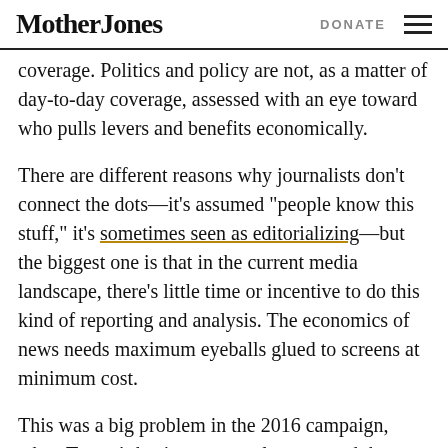Mother Jones   DONATE
coverage. Politics and policy are not, as a matter of day-to-day coverage, assessed with an eye toward who pulls levers and benefits economically.
There are different reasons why journalists don't connect the dots—it's assumed "people know this stuff," it's sometimes seen as editorializing—but the biggest one is that in the current media landscape, there's little time or incentive to do this kind of reporting and analysis. The economics of news needs maximum eyeballs glued to screens at minimum cost.
This was a big problem in the 2016 campaign, when Trump's business entanglements and the massive...